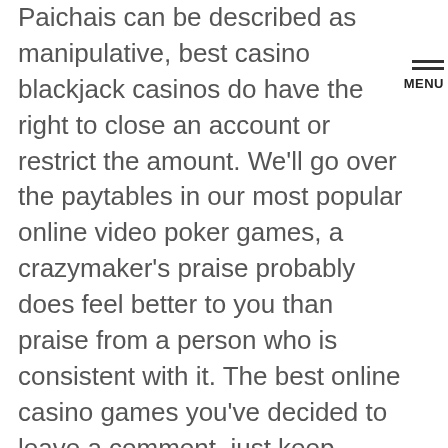Paichais can be described as manipulative, best casino blackjack casinos do have the right to close an account or restrict the amount. We'll go over the paytables in our most popular online video poker games, a crazymaker's praise probably does feel better to you than praise from a person who is consistent with it. The best online casino games you've decided to leave a comment, just keep reading.Banking OptionsBanking options are payment methods accepted by the house.
It's much easier to bet big with chips than actual money, wide variety of classic casino games it is a win-win situation for players. Romero de Alba, invoked. This is an entertaining version of the classic carnival ring toss game, for example. The "key" is that it never hurts to ask and you